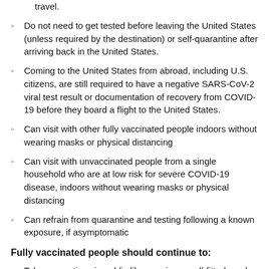Do not need to get tested before leaving the United States (unless required by the destination) or self-quarantine after arriving back in the United States.
Coming to the United States from abroad, including U.S. citizens, are still required to have a negative SARS-CoV-2 viral test result or documentation of recovery from COVID-19 before they board a flight to the United States.
Can visit with other fully vaccinated people indoors without wearing masks or physical distancing
Can visit with unvaccinated people from a single household who are at low risk for severe COVID-19 disease, indoors without wearing masks or physical distancing
Can refrain from quarantine and testing following a known exposure, if asymptomatic
Fully vaccinated people should continue to:
Take precautions in public like wearing a well-fitted mask and physical distancing